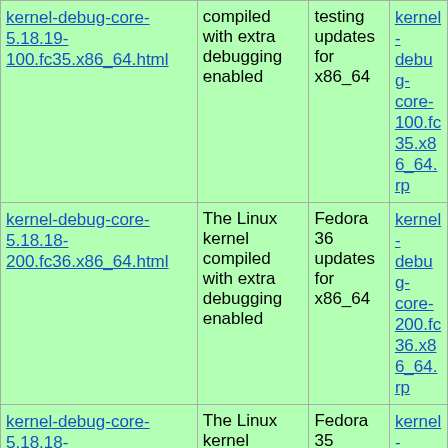| Name | Description | Repository | Download |
| --- | --- | --- | --- |
| kernel-debug-core-5.18.19-100.fc35.x86_64.html | The Linux kernel compiled with extra debugging enabled | Fedora 35 testing updates for x86_64 | kernel-debug-core-100.fc35.x86_64.rp... |
| kernel-debug-core-5.18.18-200.fc36.x86_64.html | The Linux kernel compiled with extra debugging enabled | Fedora 36 updates for x86_64 | kernel-debug-core-200.fc36.x86_64.rp... |
| kernel-debug-core-5.18.18-100.fc35.x86_64.html | The Linux kernel compiled with extra debugging enabled | Fedora 35 updates for x86_64 | kernel-debug-core-100.fc35.x86_64.rp... |
| kernel-debug-core-5.17.12-100.fc34.x86_64.html | The Linux kernel compiled with extra debugging enabled | Fedora 34 updates for x86_64 | kernel-debug-core-100.fc34.x86_64.rp... |
| kernel-debug-core-5.17.5-... | The Linux kernel compiled | Fedora | kernel-debug-core-... |